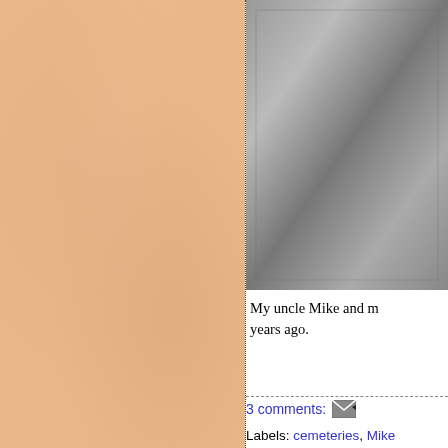[Figure (photo): Left panel with tan/peach textured background, likely a sidebar or decorative element of a blog page]
[Figure (photo): Partially visible black and white photograph in the upper right area of the page]
My uncle Mike and m years ago.
3 comments:
Labels: cemeteries, Mike